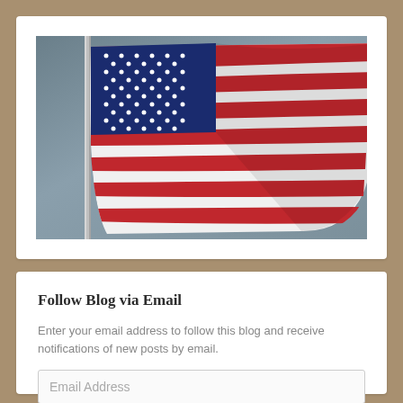[Figure (photo): American flag waving on a pole against a cloudy blue-grey sky, photographed from below at an angle. The flag shows the blue canton with white stars and red and white stripes.]
Follow Blog via Email
Enter your email address to follow this blog and receive notifications of new posts by email.